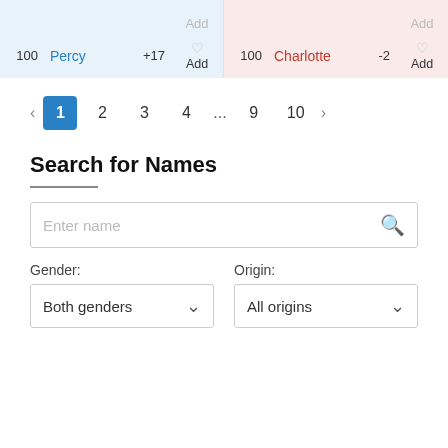| Rank | Name | Change | Action |
| --- | --- | --- | --- |
|  |  |  | Add |
| 100 | Percy | +17 | Add |
| Rank | Name | Change | Action |
| --- | --- | --- | --- |
|  |  |  | Add |
| 100 | Charlotte | -2 | Add |
‹ 1 2 3 4 ... 9 10 ›
Search for Names
Enter name
Gender:
Origin:
Both genders
All origins